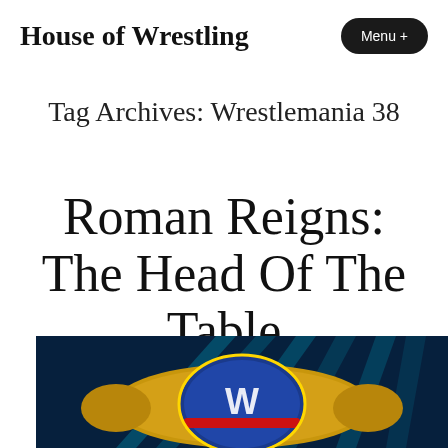House of Wrestling
Tag Archives: Wrestlemania 38
Roman Reigns: The Head Of The Table
[Figure (photo): WWE championship belt with blue and gold design, held up in front of cyan/blue stage lighting beams]